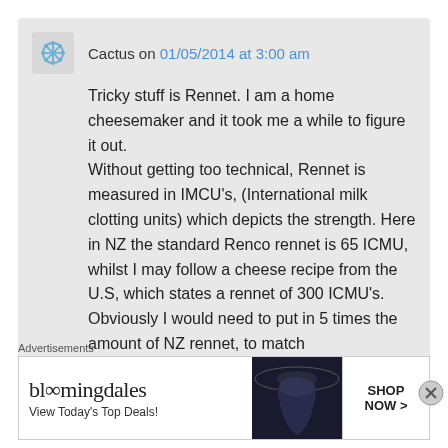Cactus on 01/05/2014 at 3:00 am
Tricky stuff is Rennet. I am a home cheesemaker and it took me a while to figure it out. Without getting too technical, Rennet is measured in IMCU's, (International milk clotting units) which depicts the strength. Here in NZ the standard Renco rennet is 65 ICMU, whilst I may follow a cheese recipe from the U.S, which states a rennet of 300 ICMU's. Obviously I would need to put in 5 times the amount of NZ rennet, to match
Advertisements
[Figure (screenshot): Bloomingdale's advertisement banner: 'View Today's Top Deals!' with SHOP NOW > button and woman wearing hat]